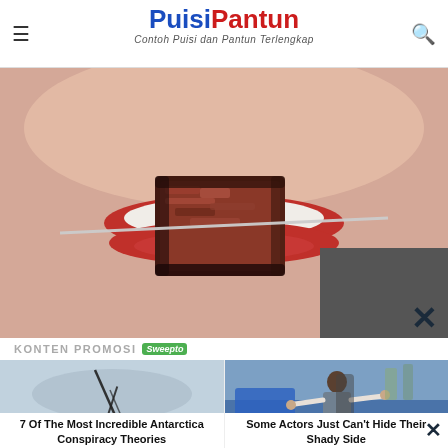PuisiPantun — Contoh Puisi dan Pantun Terlengkap
[Figure (photo): Close-up of a woman with red lips biting a piece of grilled/raw meat on a skewer]
KONTEN PROMOSI Sweepto
[Figure (photo): Aerial or close-up view of a cracked or scratched surface, possibly ice or metal]
7 Of The Most Incredible Antarctica Conspiracy Theories
[Figure (photo): A man in a suit with arms spread wide near a car door, surprised expression]
Some Actors Just Can't Hide Their Shady Side